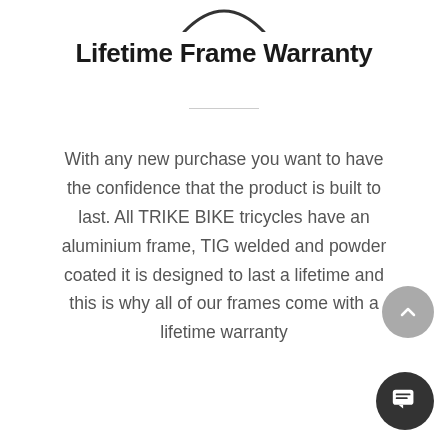[Figure (logo): Partial logo arc visible at top center of page]
Lifetime Frame Warranty
With any new purchase you want to have the confidence that the product is built to last. All TRIKE BIKE tricycles have an aluminium frame, TIG welded and powder coated it is designed to last a lifetime and this is why all of our frames come with a lifetime warranty